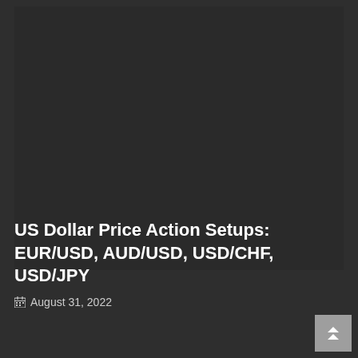[Figure (photo): Dark background image area occupying the upper portion of the page, appearing as a dark chart or screenshot thumbnail with very low visibility]
US Dollar Price Action Setups: EUR/USD, AUD/USD, USD/CHF, USD/JPY
August 31, 2022